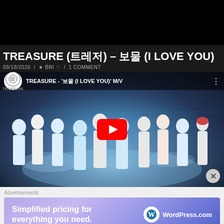[Figure (screenshot): Black bar at top of page, part of website header]
TREASURE (트레저) – 보물 (I LOVE YOU)
09/18/2020 / ★ BRI ♡ / 1 COMMENT
[Figure (screenshot): YouTube video embed showing TREASURE - '보물 (I LOVE YOU)' M/V with K-pop group members in white and blue outfits, splash water background, YouTube play button overlay]
Advertisements
[Figure (screenshot): WordPress.com advertisement banner: 'Simplified pricing for everything you need.' with WordPress.com logo on purple gradient background]